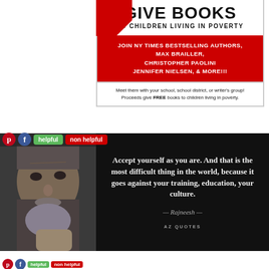GIVE BOOKS
TO CHILDREN LIVING IN POVERTY
JOIN NY TIMES BESTSELLING AUTHORS,
MAX BRAILLER,
CHRISTOPHER PAOLINI
JENNIFER NIELSEN, & MORE!!!
Meet them with your school, school district, or writer's group!
Proceeds give FREE books to children living in poverty.
[Figure (photo): Close-up photo of an older bearded man's face on a dark background, next to a quote attributed to Rajneesh: 'Accept yourself as you are. And that is the most difficult thing in the world, because it goes against your training, education, your culture.' with AZ Quotes logo at bottom]
Accept yourself as you are. And that is the most difficult thing in the world, because it goes against your training, education, your culture.
— Rajneesh —
AZ QUOTES